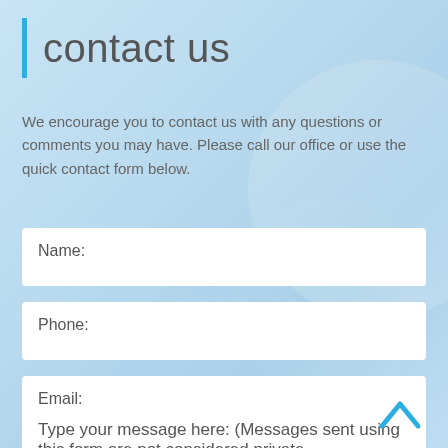contact us
We encourage you to contact us with any questions or comments you may have. Please call our office or use the quick contact form below.
Name:
Phone:
Email:
Type your message here: (Messages sent using this form are not considered private.